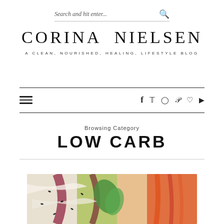Search and hit enter...
CORINA NIELSEN — A CLEAN, NOURISHED, HEALING, LIFESTYLE BLOG
Navigation bar with hamburger menu and social icons: f, twitter, instagram, pinterest, heart, youtube
Browsing Category
LOW CARB
[Figure (photo): Close-up photo of colorful low carb food items including vegetable wraps with sesame seeds, red cabbage, green herbs, and orange/red peppers]